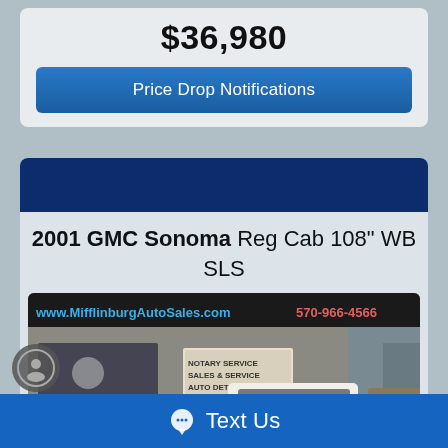$36,980
Price Drop Notifications
[Figure (screenshot): Dark blue header banner for car listing section]
2001 GMC Sonoma Reg Cab 108" WB SLS
[Figure (photo): Photo of a white 2001 GMC Sonoma pickup truck parked in front of Mifflinburg Auto Sales dealership. Signage reads www.MifflinburgAutoSales.com and 570-966-4566. A sign in the window says NOTARY SERVICE, SALES & SERVICE, AUTO DETAILING.]
Text Us